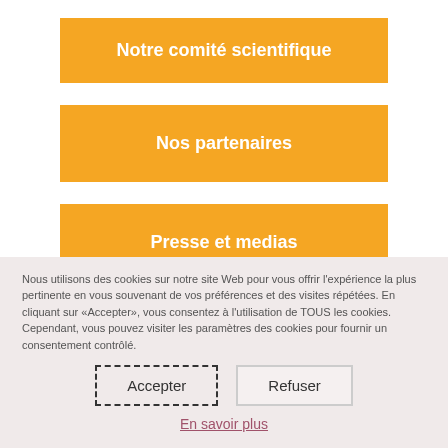Notre comité scientifique
Nos partenaires
Presse et medias
Nous utilisons des cookies sur notre site Web pour vous offrir l'expérience la plus pertinente en vous souvenant de vos préférences et des visites répétées. En cliquant sur «Accepter», vous consentez à l'utilisation de TOUS les cookies. Cependant, vous pouvez visiter les paramètres des cookies pour fournir un consentement contrôlé.
Accepter
Refuser
En savoir plus